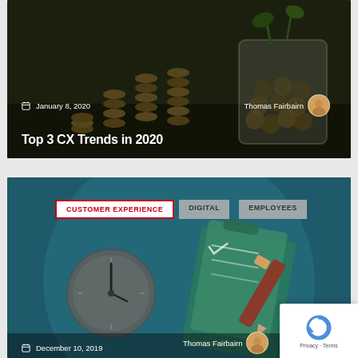[Figure (photo): Blog card with photo background showing stacked coins and glass jar with plants/coins, dark overlay. Date: January 8, 2020. Author: Thomas Fairbairn.]
Top 3 CX Trends in 2020
[Figure (illustration): Blog card with teal circular illustration showing a clock and clipboard/checklist with pencil. Tags: CUSTOMER EXPERIENCE, DIGITAL, EMPLOYEES. Date: December 10, 2019. Author: Thomas Fairbairn.]